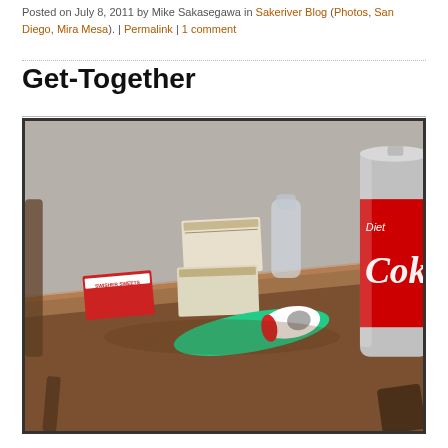Posted on July 8, 2011 by Mike Sakasegawa in Sakeriver Blog (Photos, San Diego, Mira Mesa). | Permalink | 1 comment
Get-Together
[Figure (photo): A wooden side table with items on top: a red box of Swisher Sweets cigars, two stacked rectangular boxes (possibly cigarette packs), a BIC lighter (green and white with red band), a glass bottle in the background, and a can of Diet Coke on the right side.]